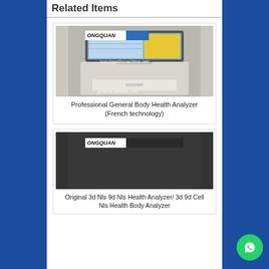Related Items
[Figure (photo): Product image of a medical health analyzer machine with TONGQUAN branding, monitor showing blue/yellow interface, white cabinet body with drawer, watermarks boruhealthmachine.net and qf168.en.alibaba.com]
Professional General Body Health Analyzer (French technology)
[Figure (photo): Second product image with TONGQUAN branding on dark background, partially visible]
Original 3d Nls 9d Nls Health Analyzer/ 3d 9d Cell Nls Health Body Analyzer